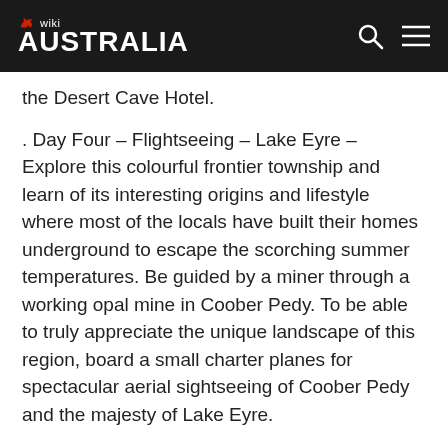wiki AUSTRALIA
the Desert Cave Hotel.
. Day Four – Flightseeing – Lake Eyre – Explore this colourful frontier township and learn of its interesting origins and lifestyle where most of the locals have built their homes underground to escape the scorching summer temperatures. Be guided by a miner through a working opal mine in Coober Pedy. To be able to truly appreciate the unique landscape of this region, board a small charter planes for spectacular aerial sightseeing of Coober Pedy and the majesty of Lake Eyre.